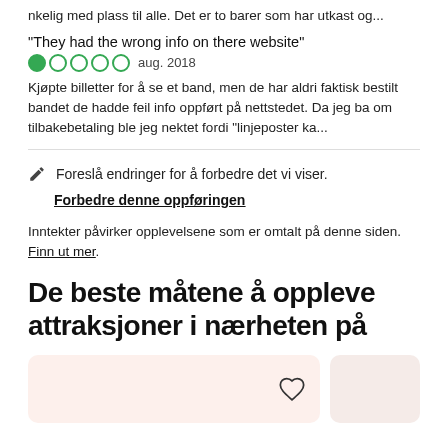nkelig med plass til alle. Det er to barer som har utkast og...
"They had the wrong info on there website"
aug. 2018
Kjøpte billetter for å se et band, men de har aldri faktisk bestilt bandet de hadde feil info oppført på nettstedet. Da jeg ba om tilbakebetaling ble jeg nektet fordi "linjeposter ka...
Foreslå endringer for å forbedre det vi viser.
Forbedre denne oppføringen
Inntekter påvirker opplevelsene som er omtalt på denne siden. Finn ut mer.
De beste måtene å oppleve attraksjoner i nærheten på
[Figure (illustration): Two card placeholders with a heart/bookmark icon on the right side of the first card]